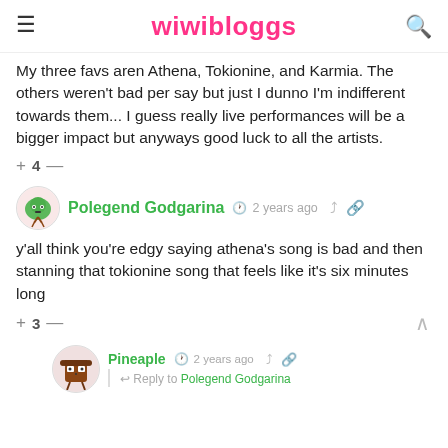wiwibloggs
My three favs aren Athena, Tokionine, and Karmia. The others weren't bad per say but just I dunno I'm indifferent towards them... I guess really live performances will be a bigger impact but anyways good luck to all the artists.
+ 4 —
Polegend Godgarina  2 years ago
y'all think you're edgy saying athena's song is bad and then stanning that tokionine song that feels like it's six minutes long
+ 3 —
Pineaple  2 years ago
Reply to Polegend Godgarina